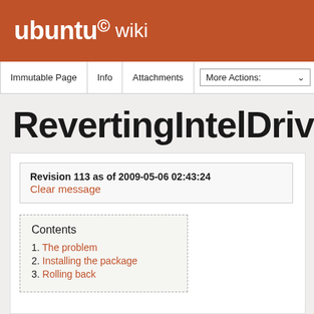ubuntu wiki
Immutable Page | Info | Attachments | More Actions:
RevertingIntelDriverTo2
Revision 113 as of 2009-05-06 02:43:24
Clear message
Contents
1. The problem
2. Installing the package
3. Rolling back